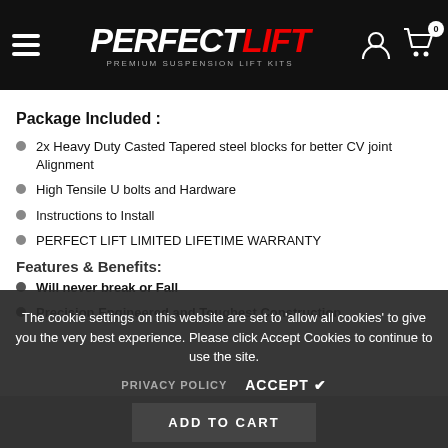PERFECT LIFT — PREMIUM SUSPENSION LIFT KITS
Package Included :
2x Heavy Duty Casted Tapered steel blocks for better CV joint Alignment
High Tensile U bolts and Hardware
Instructions to Install
PERFECT LIFT LIMITED LIFETIME WARRANTY
Features & Benefits:
Will never break or Fall
Precision Engineered and Toughest Construction
The cookie settings on this website are set to 'allow all cookies' to give you the very best experience. Please click Accept Cookies to continue to use the site.
PRIVACY POLICY   ACCEPT ✔
ADD TO CART